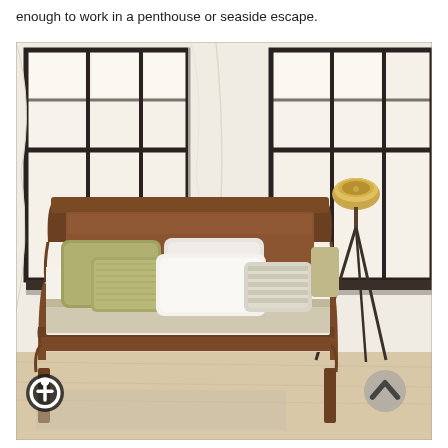enough to work in a penthouse or seaside escape.
[Figure (photo): A styled bedroom scene featuring a mid-century modern wooden bed with curved headboard and footboard, dressed in layered white and olive/tan bedding and decorative pillows. In the background are large black-framed industrial windows letting in bright light, with sheer curtains. A tripod floor lamp with a gold/brass industrial spotlight shade stands to the right of the bed. The room has light hardwood flooring and a neutral, airy aesthetic.]